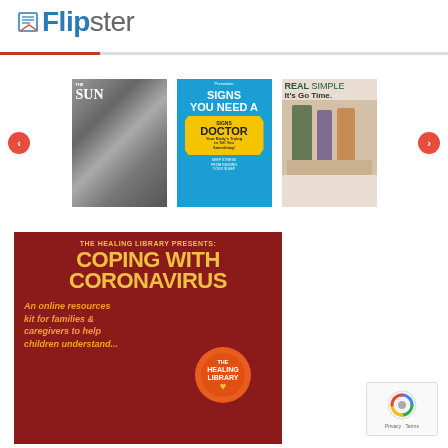[Figure (logo): Flipster logo with book icon, blue and gray text]
[Figure (photo): Carousel of three magazine covers: The Sun (grayscale bird photo), Prevention (Signs You Need A Doctor), Real Simple (It's Go Time.)]
[Figure (infographic): The Healing Library Presents: COPING WITH CORONAVIRUS - An online resources kit for families & caregivers to help children understand... Red background with gold text and orange circle logo]
[Figure (other): Google reCAPTCHA widget with Privacy and Terms links]